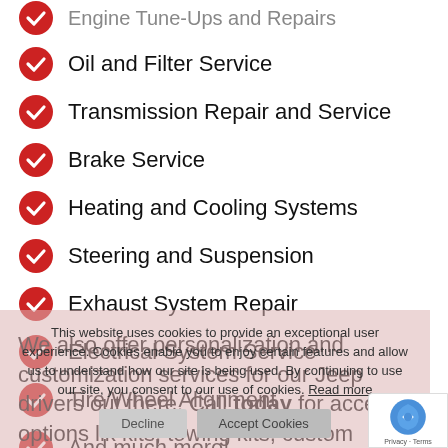Engine Tune-Ups and Repairs (partial, cut off at top)
Oil and Filter Service
Transmission Repair and Service
Brake Service
Heating and Cooling Systems
Steering and Suspension
Exhaust System Repair
Electrical System Service
Tire/Wheel Alignment
And much more!
We also offer personalization and customization services for our Jeep drivers out there. Call today for accessory options like kits, towing kits, custom wheels, accessories and more!